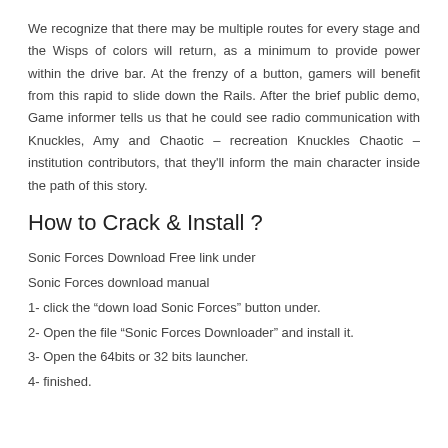We recognize that there may be multiple routes for every stage and the Wisps of colors will return, as a minimum to provide power within the drive bar. At the frenzy of a button, gamers will benefit from this rapid to slide down the Rails. After the brief public demo, Game informer tells us that he could see radio communication with Knuckles, Amy and Chaotic – recreation Knuckles Chaotic – institution contributors, that they'll inform the main character inside the path of this story.
How to Crack & Install ?
Sonic Forces Download Free link under
Sonic Forces download manual
1- click the “down load Sonic Forces” button under.
2- Open the file “Sonic Forces Downloader” and install it.
3- Open the 64bits or 32 bits launcher.
4- finished.